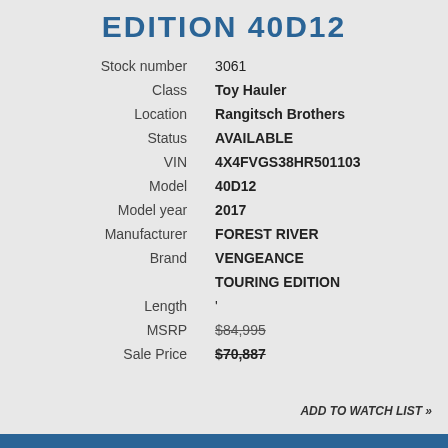EDITION 40D12
| Field | Value |
| --- | --- |
| Stock number | 3061 |
| Class | Toy Hauler |
| Location | Rangitsch Brothers |
| Status | AVAILABLE |
| VIN | 4X4FVGS38HR501103 |
| Model | 40D12 |
| Model year | 2017 |
| Manufacturer | FOREST RIVER |
| Brand | VENGEANCE TOURING EDITION |
| Length | ' |
| MSRP | $84,995 |
| Sale Price | $70,887 |
ADD TO WATCH LIST »